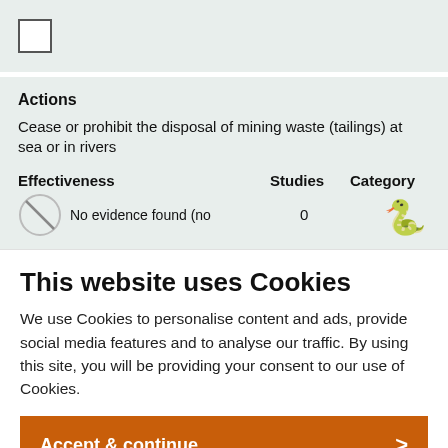[Figure (other): Checkbox (empty square) in a light teal background row]
Actions
Cease or prohibit the disposal of mining waste (tailings) at sea or in rivers
| Effectiveness | Studies | Category |
| --- | --- | --- |
| No evidence found (no | 0 | [snake icon] |
This website uses Cookies
We use Cookies to personalise content and ads, provide social media features and to analyse our traffic. By using this site, you will be providing your consent to our use of Cookies.
Accept & continue